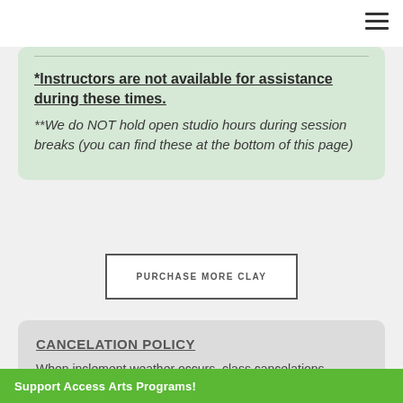*Instructors are not available for assistance during these times.
**We do NOT hold open studio hours during session breaks (you can find these at the bottom of this page)
PURCHASE MORE CLAY
CANCELATION POLICY
When inclement weather occurs, class cancelations ... to class. If WE
Support Access Arts Programs!